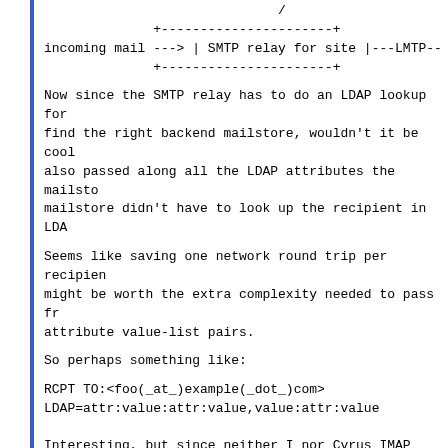[Figure (schematic): ASCII diagram showing incoming mail arrow pointing to SMTP relay for site box, with LMTP connection on right side]
Now since the SMTP relay has to do an LDAP lookup for
find the right backend mailstore, wouldn't it be cool
also passed along all the LDAP attributes the mailsto
mailstore didn't have to look up the recipient in LDA
Seems like saving one network round trip per recipien
might be worth the extra complexity needed to pass fr
attribute value-list pairs.
So perhaps something like:
RCPT TO:<foo(_at_)example(_dot_)com>
LDAP=attr:value:attr:value,value:attr:value
Interesting, but since neither I nor Cyrus IMAP need th
I'll defer to you on this one.  Unless you think that t
options" mechanisms belong in the same draft.
Ken
--
Kenneth Murchison      Oceana Matrix Ltd.
Software Engineer      21 Princeton Place
716-662-8973 x26      Orchard Park, NY 14127
--PGP Public Key--     http://www.oceana.com/~ken/ksm.p